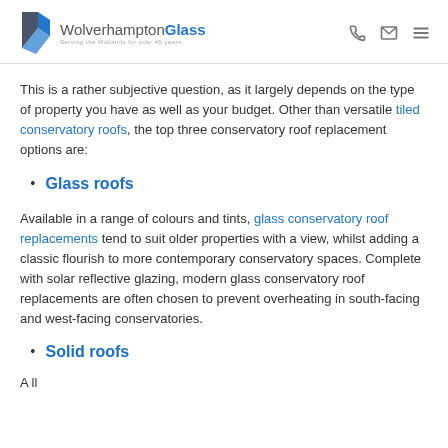Wolverhampton Glass
This is a rather subjective question, as it largely depends on the type of property you have as well as your budget. Other than versatile tiled conservatory roofs, the top three conservatory roof replacement options are:
Glass roofs
Available in a range of colours and tints, glass conservatory roof replacements tend to suit older properties with a view, whilst adding a classic flourish to more contemporary conservatory spaces. Complete with solar reflective glazing, modern glass conservatory roof replacements are often chosen to prevent overheating in south-facing and west-facing conservatories.
Solid roofs
A ll ....